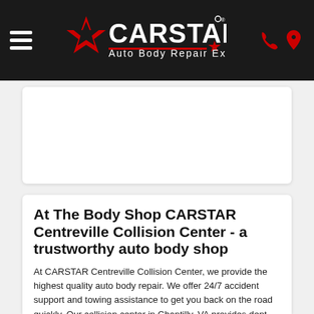CARSTAR Auto Body Repair Experts
[Figure (photo): Placeholder image area, white card with no visible image content]
At The Body Shop CARSTAR Centreville Collision Center - a trustworthy auto body shop
At CARSTAR Centreville Collision Center, we provide the highest quality auto body repair. We offer 24/7 accident support and towing assistance to get you back on the road quickly. Our collision center in Chantilly, VA provides dent repair, dent removal, storm damage repair and other services. We repair all makes and models, work with most insurance